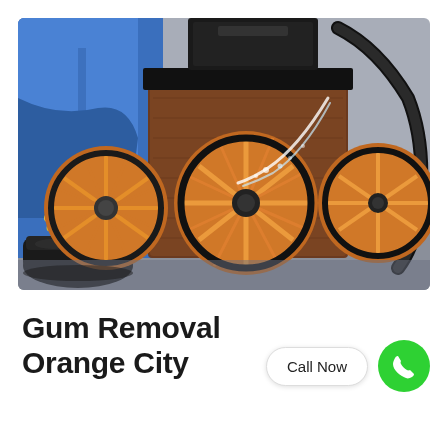[Figure (photo): A worker in blue protective clothing and black rubber boots operating rotating orange brush cleaning equipment, with water spray visible. Industrial gum or pressure washing cleaning scene.]
Gum Removal Orange City
Call Now